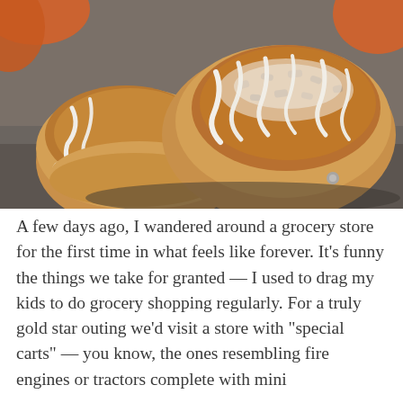[Figure (photo): Close-up overhead photo of glazed crumb-topped pastries/muffins with white icing drizzled over them, on a dark gray surface. Orange elements visible in the top corners.]
A few days ago, I wandered around a grocery store for the first time in what feels like forever. It's funny the things we take for granted — I used to drag my kids to do grocery shopping regularly. For a truly gold star outing we'd visit a store with "special carts" — you know, the ones resembling fire engines or tractors complete with mini